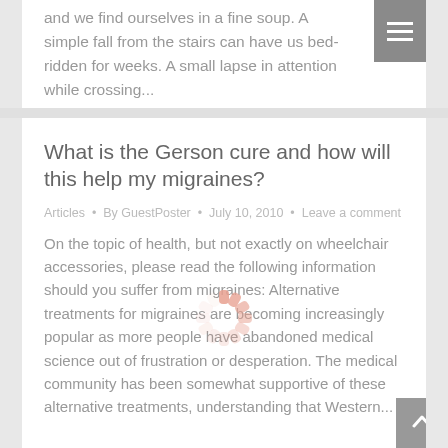and we find ourselves in a fine soup. A simple fall from the stairs can have us bed-ridden for weeks. A small lapse in attention while crossing...
What is the Gerson cure and how will this help my migraines?
Articles • By GuestPoster • July 10, 2010 • Leave a comment
On the topic of health, but not exactly on wheelchair accessories, please read the following information should you suffer from migraines: Alternative treatments for migraines are becoming increasingly popular as more people have abandoned medical science out of frustration or desperation. The medical community has been somewhat supportive of these alternative treatments, understanding that Western...